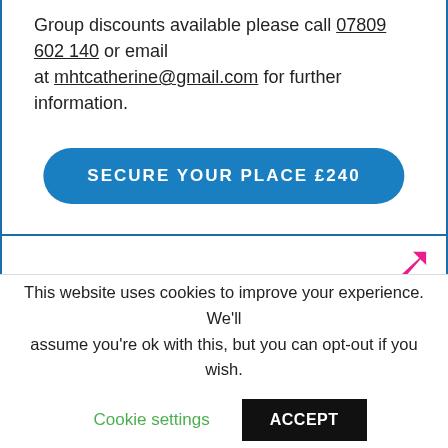Group discounts available please call 07809 602 140 or email at mhtcatherine@gmail.com for further information.
SECURE YOUR PLACE £240
SafeTALK
This website uses cookies to improve your experience. We'll assume you're ok with this, but you can opt-out if you wish.
Cookie settings | ACCEPT